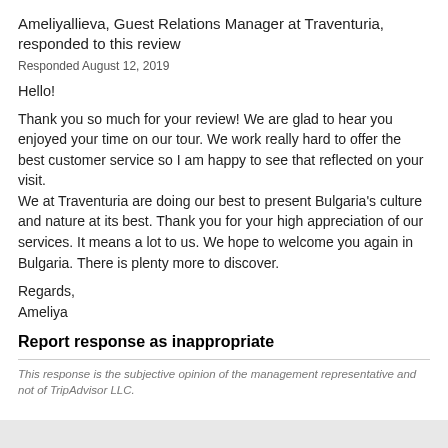Ameliyallieva, Guest Relations Manager at Traventuria, responded to this review
Responded August 12, 2019
Hello!
Thank you so much for your review! We are glad to hear you enjoyed your time on our tour. We work really hard to offer the best customer service so I am happy to see that reflected on your visit.
We at Traventuria are doing our best to present Bulgaria's culture and nature at its best. Thank you for your high appreciation of our services. It means a lot to us. We hope to welcome you again in Bulgaria. There is plenty more to discover.
Regards,
Ameliya
Report response as inappropriate
This response is the subjective opinion of the management representative and not of TripAdvisor LLC.